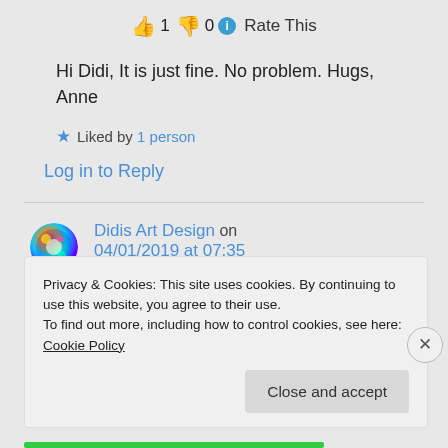👍 1 👎 0 ℹ Rate This
Hi Didi, It is just fine. No problem. Hugs, Anne
★ Liked by 1 person
Log in to Reply
Didis Art Design on 04/01/2019 at 07:35
Privacy & Cookies: This site uses cookies. By continuing to use this website, you agree to their use.
To find out more, including how to control cookies, see here: Cookie Policy
Close and accept